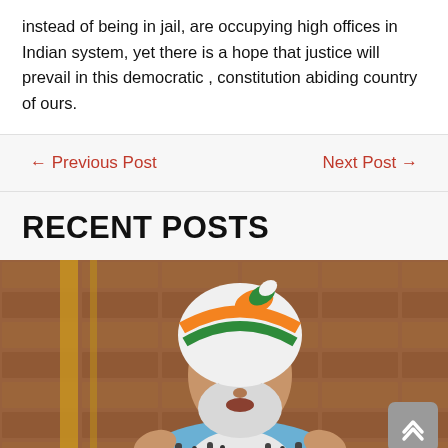instead of being in jail, are occupying high offices in Indian system, yet there is a hope that justice will prevail in this democratic , constitution abiding country of ours.
← Previous Post
Next Post →
RECENT POSTS
[Figure (photo): A man wearing a white, orange, and green turban in Indian tricolor colors, with a white beard and blue vest, speaking at a podium with microphones, in front of a red stone building background.]